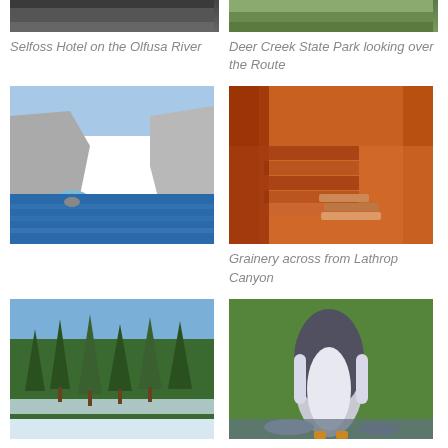[Figure (photo): Cropped top of Selfoss Hotel on the Olfusa River photo]
[Figure (photo): Cropped top of Deer Creek State Park looking over the Route photo]
Selfoss Hotel on the Olfusa River
Deer Creek State Park looking over the Route
[Figure (photo): Rocky sea arch cliffs with blue water — Selfoss Hotel area]
[Figure (photo): Grainery ruins with stacked red stone bricks in warm orange cave light — across from Lathrop Canyon]
Grainery across from Lathrop Canyon
[Figure (photo): Snow-covered forest with tall evergreen pine trees and blue sky]
[Figure (photo): Penguin standing among rocks and green foliage]